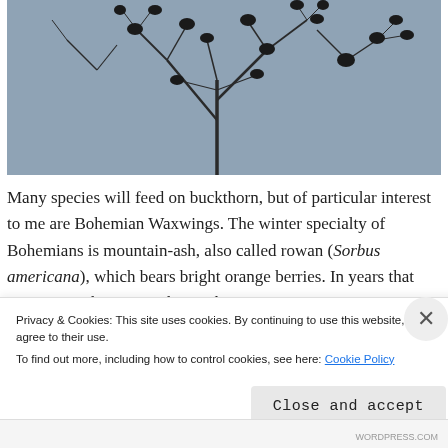[Figure (photo): Black silhouettes of birds perched in bare tree branches against a grey-blue winter sky.]
Many species will feed on buckthorn, but of particular interest to me are Bohemian Waxwings. The winter specialty of Bohemians is mountain-ash, also called rowan (Sorbus americana), which bears bright orange berries. In years that mountain-ash crops in the north
Privacy & Cookies: This site uses cookies. By continuing to use this website, you agree to their use.
To find out more, including how to control cookies, see here: Cookie Policy

Close and accept